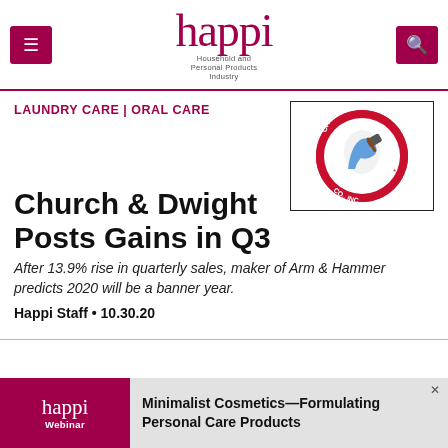happi — Household and Personal Products Industry
LAUNDRY CARE | ORAL CARE
[Figure (logo): Church & Dwight Co., Inc. circular logo with red border and arm & hammer symbol]
Church & Dwight Posts Gains in Q3
After 13.9% rise in quarterly sales, maker of Arm & Hammer predicts 2020 will be a banner year.
Happi Staff • 10.30.20
[Figure (infographic): happi Webinar advertisement banner: Minimalist Cosmetics—Formulating Personal Care Products]